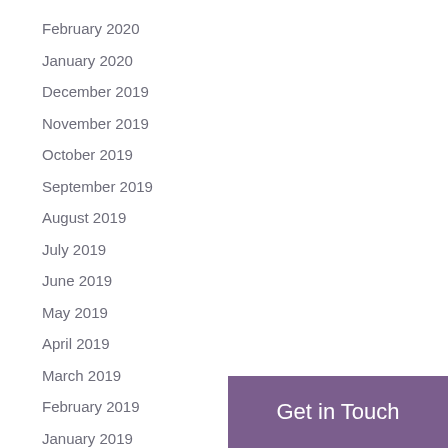February 2020
January 2020
December 2019
November 2019
October 2019
September 2019
August 2019
July 2019
June 2019
May 2019
April 2019
March 2019
February 2019
January 2019
Get in Touch